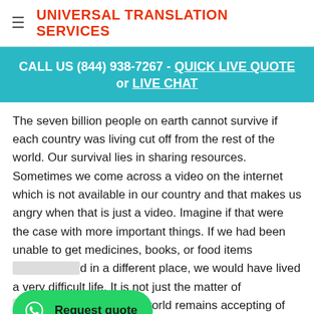UNIVERSAL TRANSLATION SERVICES
CALL US (844) 938-7267 - QUICK LIVE QUOTE or LIVE CHAT
The seven billion people on earth cannot survive if each country was living cut off from the rest of the world. Our survival lies in sharing resources. Sometimes we come across a video on the internet which is not available in our country and that makes us angry when that is just a video. Imagine if that were the case with more important things. If we had been unable to get medicines, books, or food items [produced] in a different place, we would have lived a very difficult life. It is not just the matter of [connec]tion but making sure the world remains accepting of
[Figure (infographic): WhatsApp Request quote button overlay]
[Figure (infographic): Google Rating 5.0 with five stars bar at bottom left]
[Figure (other): Scroll to top arrow button at bottom right]